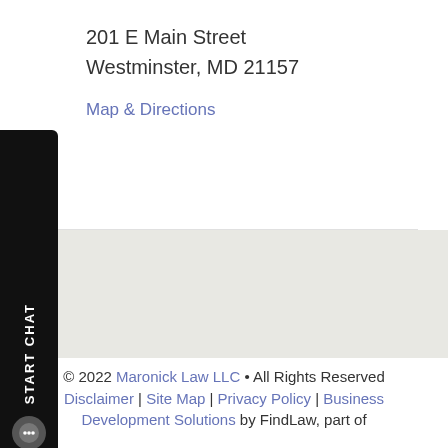201 E Main Street
Westminster, MD 21157
Map & Directions
MAKE A PAYMENT
© 2022 Maronick Law LLC • All Rights Reserved
Disclaimer | Site Map | Privacy Policy | Business Development Solutions by FindLaw, part of